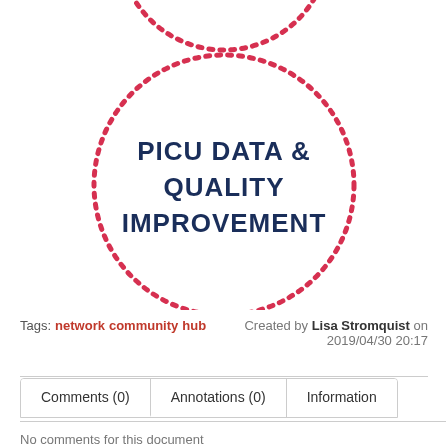[Figure (infographic): Dotted red circle with text 'PICU DATA & QUALITY IMPROVEMENT' inside, partially cut off at top showing another partial dotted circle arc above]
Tags: network community hub  Created by Lisa Stromquist on 2019/04/30 20:17
Comments (0)  Annotations (0)  Information
No comments for this document